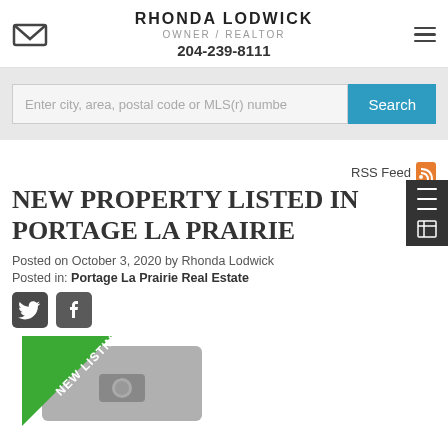RHONDA LODWICK OWNER / REALTOR 204-239-8111
Enter city, area, postal code or MLS(r) numbe
RSS Feed
New property listed in Portage La Prairie
Posted on October 3, 2020 by Rhonda Lodwick
Posted in: Portage La Prairie Real Estate
[Figure (other): New listing property photo placeholder with green 'NEW LISTING' banner diagonal badge and camera icon placeholder image]